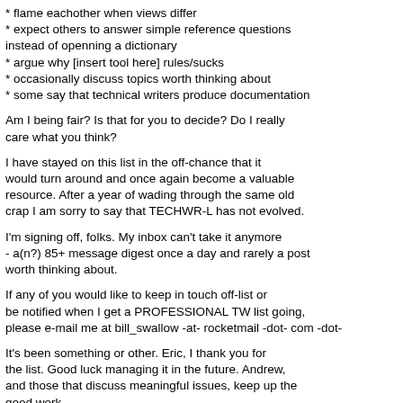* flame eachother when views differ
* expect others to answer simple reference questions instead of openning a dictionary
* argue why [insert tool here] rules/sucks
* occasionally discuss topics worth thinking about
* some say that technical writers produce documentation
Am I being fair? Is that for you to decide? Do I really care what you think?
I have stayed on this list in the off-chance that it would turn around and once again become a valuable resource. After a year of wading through the same old crap I am sorry to say that TECHWR-L has not evolved.
I'm signing off, folks. My inbox can't take it anymore - a(n?) 85+ message digest once a day and rarely a post worth thinking about.
If any of you would like to keep in touch off-list or be notified when I get a PROFESSIONAL TW list going, please e-mail me at bill_swallow -at- rocketmail -dot- com -dot-
It's been something or other. Eric, I thank you for the list. Good luck managing it in the future. Andrew, and those that discuss meaningful issues, keep up the good work.
Ta ta, y'all!